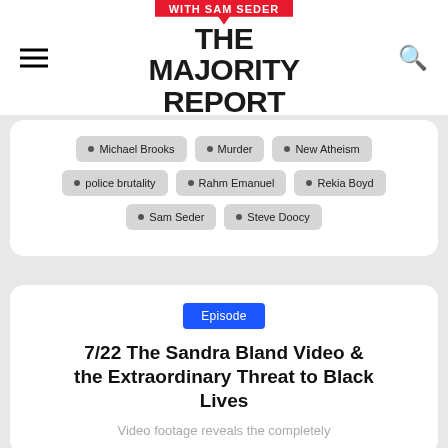THE MAJORITY REPORT with Sam Seder
Michael Brooks
Murder
New Atheism
police brutality
Rahm Emanuel
Rekia Boyd
Sam Seder
Steve Doocy
Episode
7/22 The Sandra Bland Video & the Extraordinary Threat to Black Lives
Video footage reveals the completely